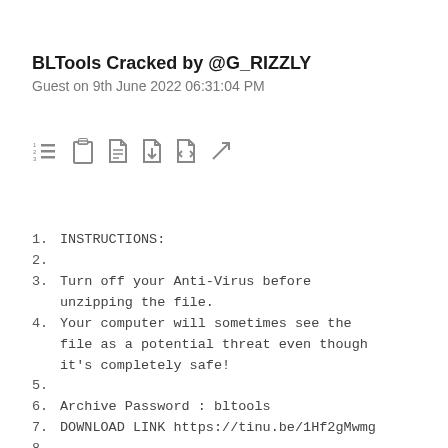BLTools Cracked by @G_RIZZLY
Guest on 9th June 2022 06:31:04 PM
[Figure (other): Toolbar with icons: numbered list, clipboard, document, download document, code document, expand arrow]
1.  INSTRUCTIONS:
2.
3.  Turn off your Anti-Virus before unzipping the file.
4.  Your computer will sometimes see the file as a potential threat even though it's completely safe!
5.
6.  Archive Password : bltools
7.  DOWNLOAD LINK https://tinu.be/1Hf2gMwmg
8.
9.  🔲Update v1.8